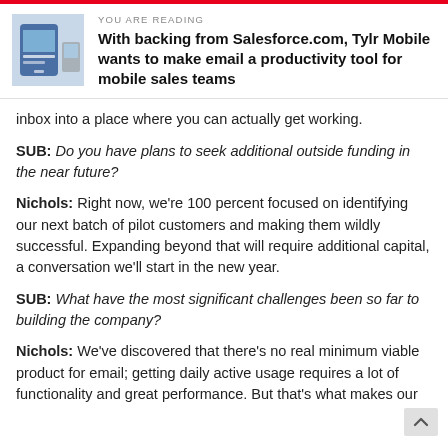YOU ARE READING
With backing from Salesforce.com, Tylr Mobile wants to make email a productivity tool for mobile sales teams
inbox into a place where you can actually get working.
SUB: Do you have plans to seek additional outside funding in the near future?
Nichols: Right now, we're 100 percent focused on identifying our next batch of pilot customers and making them wildly successful. Expanding beyond that will require additional capital, a conversation we'll start in the new year.
SUB: What have the most significant challenges been so far to building the company?
Nichols: We've discovered that there's no real minimum viable product for email; getting daily active usage requires a lot of functionality and great performance. But that's what makes our